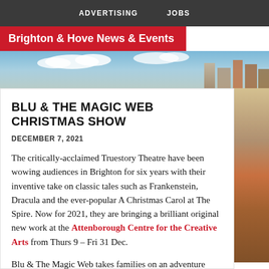ADVERTISING   JOBS
Brighton & Hove News & Events
[Figure (photo): Coastal scene with sky and buildings in Brighton, used as hero banner image]
BLU & THE MAGIC WEB CHRISTMAS SHOW
DECEMBER 7, 2021
The critically-acclaimed Truestory Theatre have been wowing audiences in Brighton for six years with their inventive take on classic tales such as Frankenstein, Dracula and the ever-popular A Christmas Carol at The Spire. Now for 2021, they are bringing a brilliant original new work at the Attenborough Centre for the Creative Arts from Thurs 9 – Fri 31 Dec.
Blu & The Magic Web takes families on an adventure through the tangled woods, providing a magical new spin on some familiar classic tales.